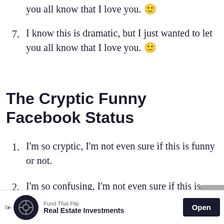you all know that I love you. 🙂
7. I know this is dramatic, but I just wanted to let you all know that I love you. 🙂
The Cryptic Funny Facebook Status
1. I'm so cryptic, I'm not even sure if this is funny or not.
2. I'm so confusing, I'm not even sure if this is funny or not.
[Figure (other): Advertisement banner for Fund That Flip - Real Estate Investments with Open button]